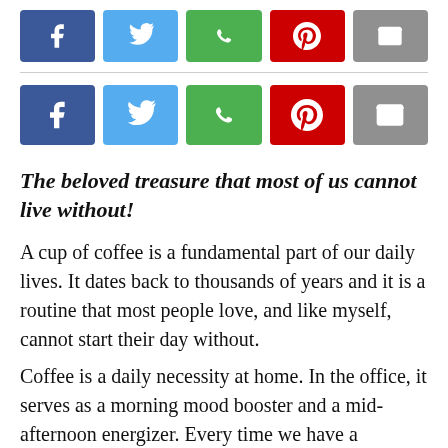[Figure (infographic): Row of social media share buttons: Facebook (blue), Twitter (light blue), WhatsApp (green), Pinterest (red), Email (gray)]
[Figure (infographic): Second row of social media share buttons (larger): Facebook (blue), Twitter (light blue), WhatsApp (green), Pinterest (red), Email (gray)]
The beloved treasure that most of us cannot live without!
A cup of coffee is a fundamental part of our daily lives. It dates back to thousands of years and it is a routine that most people love, and like myself, cannot start their day without.
Coffee is a daily necessity at home. In the office, it serves as a morning mood booster and a mid-afternoon energizer. Every time we have a downtime, we need a place to grab a cup of coffee to recharge ourselves.